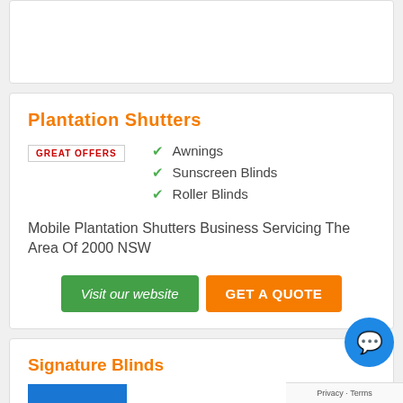Plantation Shutters
[Figure (other): GREAT OFFERS badge/label]
Awnings
Sunscreen Blinds
Roller Blinds
Mobile Plantation Shutters Business Servicing The Area Of 2000 NSW
Visit our website
GET A QUOTE
Signature Blinds